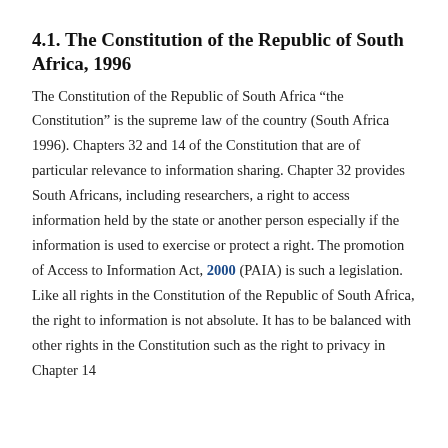4.1. The Constitution of the Republic of South Africa, 1996
The Constitution of the Republic of South Africa “the Constitution” is the supreme law of the country (South Africa 1996). Chapters 32 and 14 of the Constitution that are of particular relevance to information sharing. Chapter 32 provides South Africans, including researchers, a right to access information held by the state or another person especially if the information is used to exercise or protect a right. The promotion of Access to Information Act, 2000 (PAIA) is such a legislation. Like all rights in the Constitution of the Republic of South Africa, the right to information is not absolute. It has to be balanced with other rights in the Constitution such as the right to privacy in Chapter 14